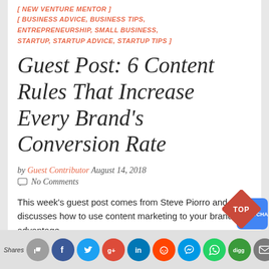[ NEW VENTURE MENTOR ]
[ BUSINESS ADVICE, BUSINESS TIPS, ENTREPRENEURSHIP, SMALL BUSINESS, STARTUP, STARTUP ADVICE, STARTUP TIPS ]
Guest Post: 6 Content Rules That Increase Every Brand's Conversion Rate
by Guest Contributor August 14, 2018
No Comments
This week's guest post comes from Steve Piorro and discusses how to use content marketing to your brand's advantage.
Continue Reading
Shares [social share buttons]